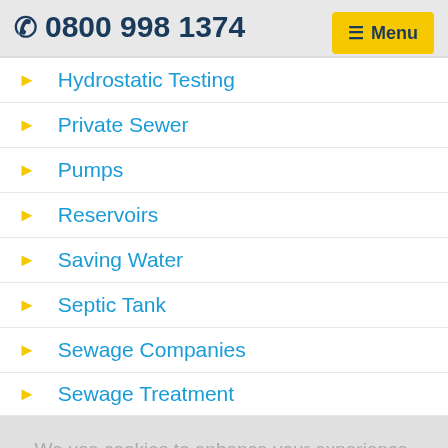0800 998 1374
Hydrostatic Testing
Private Sewer
Pumps
Reservoirs
Saving Water
Septic Tank
Sewage Companies
Sewage Treatment
We use cookies to enhance your experience. By continuing to visit this site you agree to our use of cookies. Learn more.